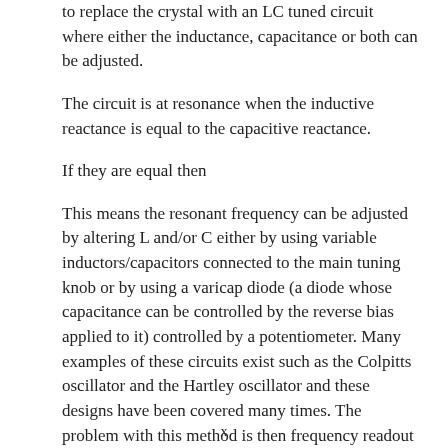to replace the crystal with an LC tuned circuit where either the inductance, capacitance or both can be adjusted.
The circuit is at resonance when the inductive reactance is equal to the capacitive reactance.
If they are equal then
This means the resonant frequency can be adjusted by altering L and/or C either by using variable inductors/capacitors connected to the main tuning knob or by using a varicap diode (a diode whose capacitance can be controlled by the reverse bias applied to it) controlled by a potentiometer. Many examples of these circuits exist such as the Colpitts oscillator and the Hartley oscillator and these designs have been covered many times. The problem with this method is then frequency readout is determined by
x